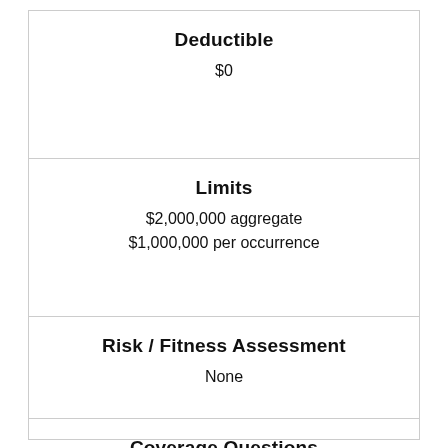Deductible
$0
Limits
$2,000,000 aggregate
$1,000,000 per occurrence
Risk / Fitness Assessment
None
Coverage Questions